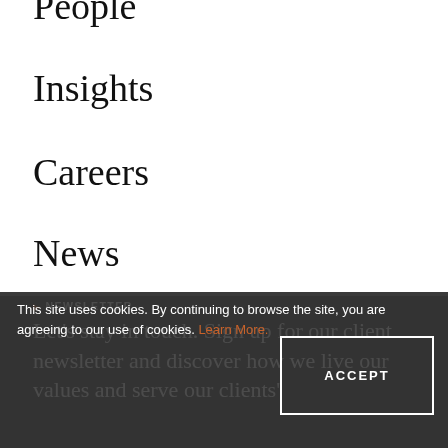People
Insights
Careers
News
Contact
NEWSLETTER
Let's stay in touch. Sign up for our client newsletter and discover how we live our values and serve our clients'
This site uses cookies. By continuing to browse the site, you are agreeing to our use of cookies. Learn More.